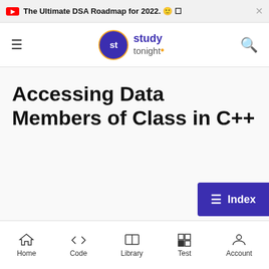The Ultimate DSA Roadmap for 2022. 🙂 ☐
[Figure (logo): Study Tonight logo with purple circle containing 'st', and text 'study tonight' with orange dot]
Accessing Data Members of Class in C++
Home | Code | Library | Test | Account